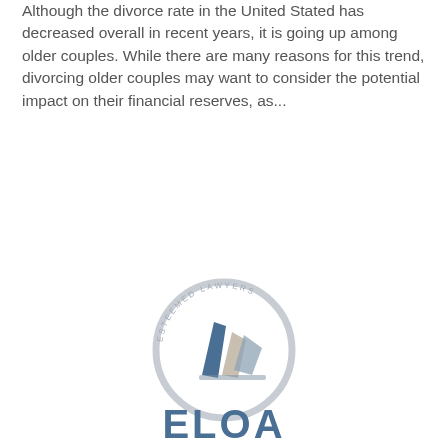Although the divorce rate in the United Stated has decreased overall in recent years, it is going up among older couples. While there are many reasons for this trend, divorcing older couples may want to consider the potential impact on their financial reserves, as...
[Figure (logo): ELOA - Esteemed Lawyers logo: circular arc with abstract geometric shapes in blue, beige, and grey, text 'ESTEEMED LAWYERS' around top arc, 'ELOA' in large blue letters below]